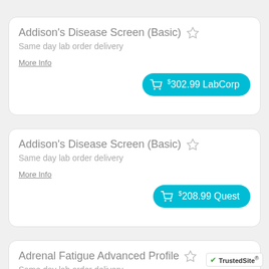Addison's Disease Screen (Basic) ☆
Same day lab order delivery
More Info
$302.99 LabCorp
Addison's Disease Screen (Basic) ☆
Same day lab order delivery
More Info
$208.99 Quest
Adrenal Fatigue Advanced Profile ☆
Same day lab order delivery
More Info/Compare
[Figure (logo): TrustedSite badge with green checkmark]